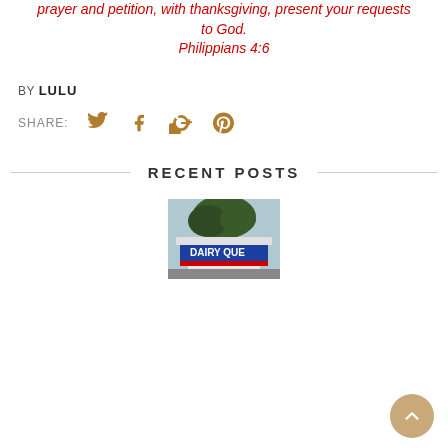prayer and petition, with thanksgiving, present your requests to God.
Philippians 4:6
BY LULU
SHARE:
RECENT POSTS
[Figure (photo): Dairy Queen restaurant sign photo]